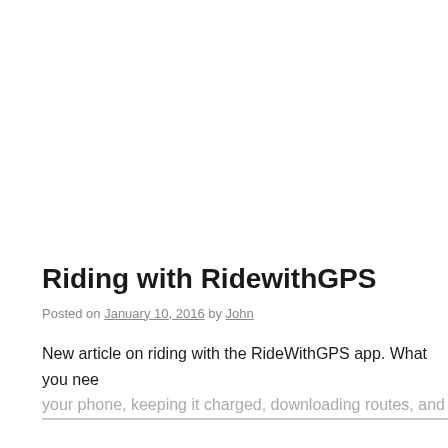Riding with RidewithGPS
Posted on January 10, 2016 by John
New article on riding with the RideWithGPS app. What you nee... your phone, keeping it charged, downloading routes, and more...